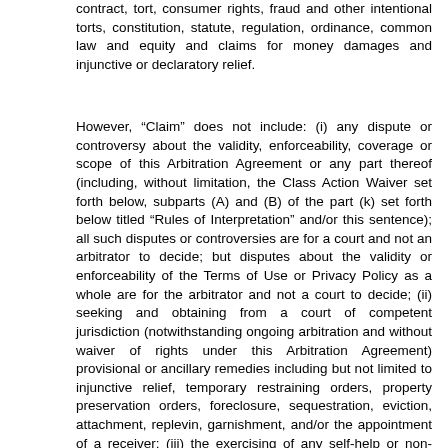contract, tort, consumer rights, fraud and other intentional torts, constitution, statute, regulation, ordinance, common law and equity and claims for money damages and injunctive or declaratory relief.
However, “Claim” does not include: (i) any dispute or controversy about the validity, enforceability, coverage or scope of this Arbitration Agreement or any part thereof (including, without limitation, the Class Action Waiver set forth below, subparts (A) and (B) of the part (k) set forth below titled “Rules of Interpretation” and/or this sentence); all such disputes or controversies are for a court and not an arbitrator to decide; but disputes about the validity or enforceability of the Terms of Use or Privacy Policy as a whole are for the arbitrator and not a court to decide; (ii) seeking and obtaining from a court of competent jurisdiction (notwithstanding ongoing arbitration and without waiver of rights under this Arbitration Agreement) provisional or ancillary remedies including but not limited to injunctive relief, temporary restraining orders, property preservation orders, foreclosure, sequestration, eviction, attachment, replevin, garnishment, and/or the appointment of a receiver; (iii) the exercising of any self-help or non-judicial remedies by you or us; (iv) any individual action in court by one party that is limited to preventing the other party from using a self-